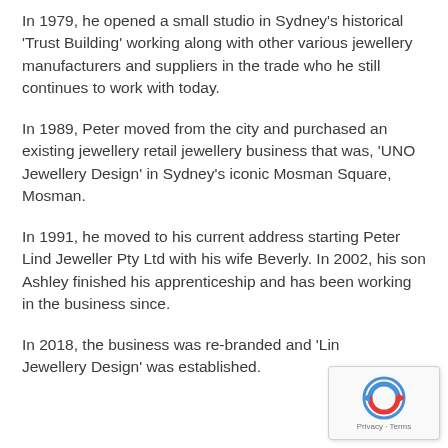In 1979, he opened a small studio in Sydney's historical 'Trust Building' working along with other various jewellery manufacturers and suppliers in the trade who he still continues to work with today.
In 1989, Peter moved from the city and purchased an existing jewellery retail jewellery business that was, 'UNO Jewellery Design' in Sydney's iconic Mosman Square, Mosman.
In 1991, he moved to his current address starting Peter Lind Jeweller Pty Ltd with his wife Beverly. In 2002, his son Ashley finished his apprenticeship and has been working in the business since.
In 2018, the business was re-branded and 'Lind Jewellery Design' was established.